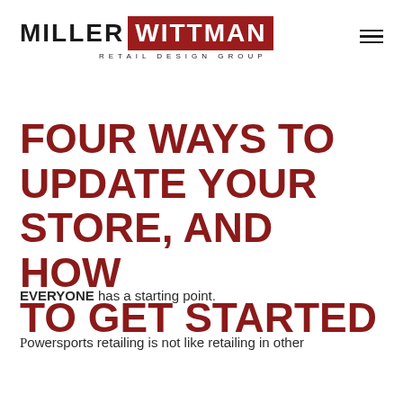[Figure (logo): Miller Wittman Retail Design Group logo — MILLER in black bold, WITTMAN in white on dark red box, RETAIL DESIGN GROUP subtitle below]
FOUR WAYS TO UPDATE YOUR STORE, AND HOW TO GET STARTED
EVERYONE has a starting point.
Powersports retailing is not like retailing in other